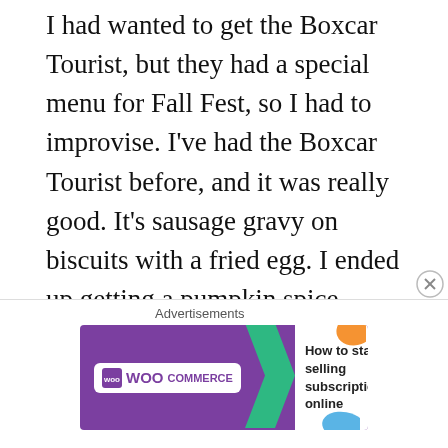I had wanted to get the Boxcar Tourist, but they had a special menu for Fall Fest, so I had to improvise. I've had the Boxcar Tourist before, and it was really good. It's sausage gravy on biscuits with a fried egg. I ended up getting a pumpkin spice muffin and a hazelnut/chocolate coffee drink. The muffin was good. It was a bit heavier due to the pumpkin and had a slight spice flavor. I enjoyed it, but would have liked a little more nutmeg or cinnamon in there. The coffee drink was really good. I know I've been getting the pumpkin drinks everywhere, but I had a Nutella type coffee drink on my mind, so that's what I went with. I ended up heading out after I was done, since I didn't want to sit...
[Figure (screenshot): WooCommerce advertisement banner: purple background with WooCommerce logo on left, green arrow pointing right, text 'How to start selling subscriptions online' on right with orange and blue decorative shapes.]